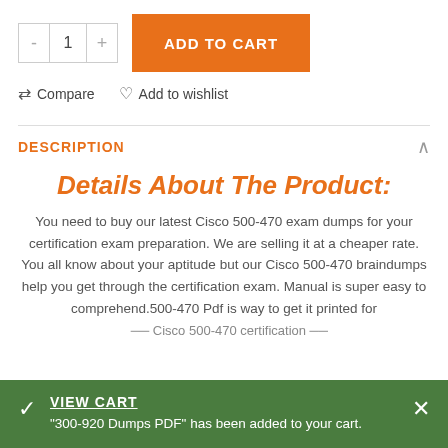[Figure (screenshot): Quantity selector with minus button, number 1, plus button; and orange ADD TO CART button]
Compare   Add to wishlist
DESCRIPTION
Details About The Product:
You need to buy our latest Cisco 500-470 exam dumps for your certification exam preparation. We are selling it at a cheaper rate. You all know about your aptitude but our Cisco 500-470 braindumps help you get through the certification exam. Manual is super easy to comprehend.500-470 Pdf is way to get it printed for
VIEW CART
"300-920 Dumps PDF" has been added to your cart.